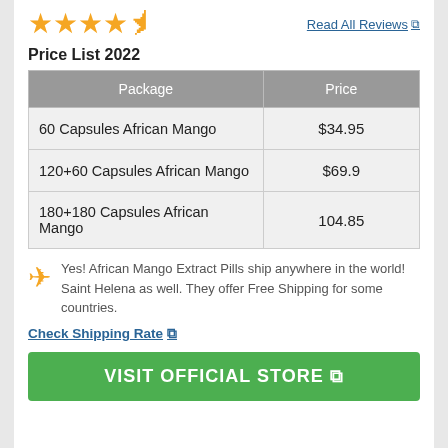[Figure (other): 4.5 out of 5 orange star rating with a 'Read All Reviews' link]
Price List 2022
| Package | Price |
| --- | --- |
| 60 Capsules African Mango | $34.95 |
| 120+60 Capsules African Mango | $69.9 |
| 180+180 Capsules African Mango | 104.85 |
Yes! African Mango Extract Pills ship anywhere in the world! Saint Helena as well. They offer Free Shipping for some countries.
Check Shipping Rate ↗
VISIT OFFICIAL STORE ↗